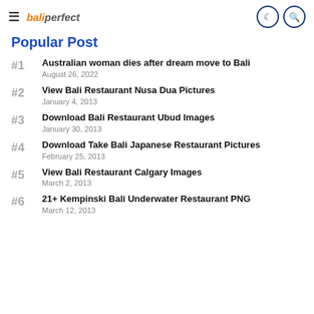baliperfect — hamburger menu, moon icon, search icon
Popular Post
#1 Australian woman dies after dream move to Bali — August 26, 2022
#2 View Bali Restaurant Nusa Dua Pictures — January 4, 2013
#3 Download Bali Restaurant Ubud Images — January 30, 2013
#4 Download Take Bali Japanese Restaurant Pictures — February 25, 2013
#5 View Bali Restaurant Calgary Images — March 2, 2013
#6 21+ Kempinski Bali Underwater Restaurant PNG — March 12, 2013